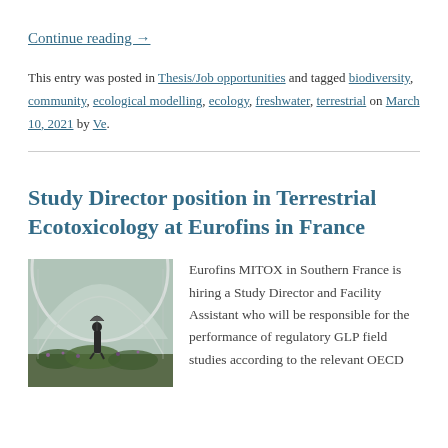Continue reading →
This entry was posted in Thesis/Job opportunities and tagged biodiversity, community, ecological modelling, ecology, freshwater, terrestrial on March 10, 2021 by Ve.
Study Director position in Terrestrial Ecotoxicology at Eurofins in France
[Figure (photo): Greenhouse interior with a person standing among plants under a curved plastic tunnel roof]
Eurofins MITOX in Southern France is hiring a Study Director and Facility Assistant who will be responsible for the performance of regulatory GLP field studies according to the relevant OECD